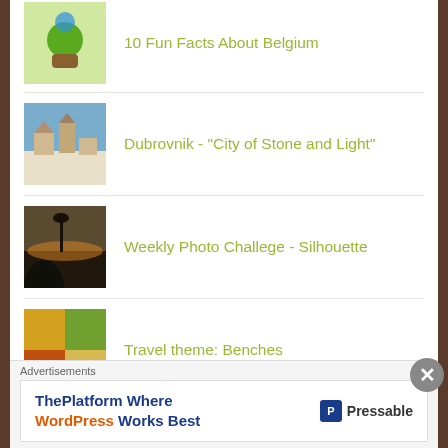10 Fun Facts About Belgium
Dubrovnik - "City of Stone and Light"
Weekly Photo Challege - Silhouette
Travel theme: Benches
Advice For A First Time Tourist of Japan
Craving for Old Europe? Here are Top 7 Cities to Visit !!!
Advertisements
ThePlatform Where WordPress Works Best — Pressable